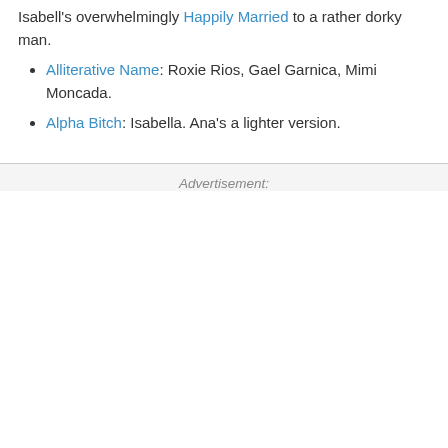Isabell's overwhelmingly Happily Married to a rather dorky man.
Alliterative Name: Roxie Rios, Gael Garnica, Mimi Moncada.
Alpha Bitch: Isabella. Ana's a lighter version.
Advertisement: